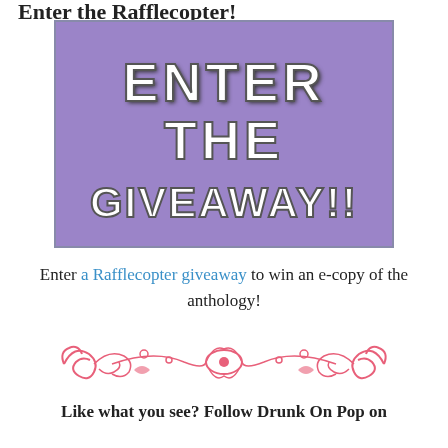Enter the Rafflecopter!
[Figure (illustration): Purple background banner with stylized decorative font reading ENTER THE GIVEAWAY!! in white with shadow effect]
Enter a Rafflecopter giveaway to win an e-copy of the anthology!
[Figure (illustration): Pink/coral decorative floral flourish divider ornament]
Like what you see? Follow Drunk On Pop on